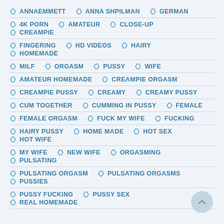ANNAEMMETT | ANNA SHPILMAN | GERMAN
4K PORN | AMATEUR | CLOSE-UP | CREAMPIE
FINGERING | HD VIDEOS | HAIRY | HOMEMADE
MILF | ORGASM | PUSSY | WIFE
AMATEUR HOMEMADE | CREAMPIE ORGASM
CREAMPIE PUSSY | CREAMY | CREAMY PUSSY
CUM TOGETHER | CUMMING IN PUSSY | FEMALE
FEMALE ORGASM | FUCK MY WIFE | FUCKING
HAIRY PUSSY | HOME MADE | HOT SEX | HOT WIFE
MY WIFE | NEW WIFE | ORGASMING | PULSATING
PULSATING ORGASM | PULSATING ORGASMS | PUSSIES
PUSSY FUCKING | PUSSY SEX | REAL HOMEMADE